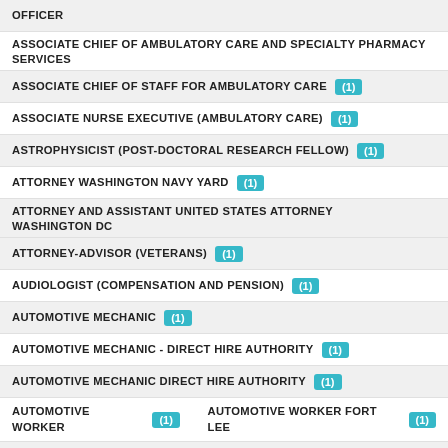OFFICER
ASSOCIATE CHIEF OF AMBULATORY CARE AND SPECIALTY PHARMACY SERVICES
ASSOCIATE CHIEF OF STAFF FOR AMBULATORY CARE (1)
ASSOCIATE NURSE EXECUTIVE (AMBULATORY CARE) (1)
ASTROPHYSICIST (POST-DOCTORAL RESEARCH FELLOW) (1)
ATTORNEY WASHINGTON NAVY YARD (1)
ATTORNEY AND ASSISTANT UNITED STATES ATTORNEY WASHINGTON DC
ATTORNEY-ADVISOR (VETERANS) (1)
AUDIOLOGIST (COMPENSATION AND PENSION) (1)
AUTOMOTIVE MECHANIC (1)
AUTOMOTIVE MECHANIC - DIRECT HIRE AUTHORITY (1)
AUTOMOTIVE MECHANIC DIRECT HIRE AUTHORITY (1)
AUTOMOTIVE WORKER (1)   AUTOMOTIVE WORKER FORT LEE (1)
AVIATION SAFETY - DIRECT HIRE AUTHORITY (1)